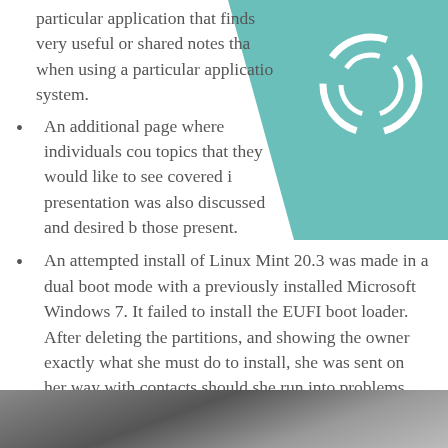particular application that finds very useful or shared notes that when using a particular application system.
An additional page where individuals could suggest topics that they would like to see covered in the presentation was also discussed and desired by those present.
An attempted install of Linux Mint 20.3 was made in a dual boot mode with a previously installed Microsoft Windows 7. It failed to install the EUFI boot loader. After deleting the partitions, and showing the owner exactly what she must do to install, she was sent on her way with contacts should she run into problems.
[Figure (photo): Bottom strip showing a partial photo, dark grey tones, appears to be an interior or ceiling scene.]